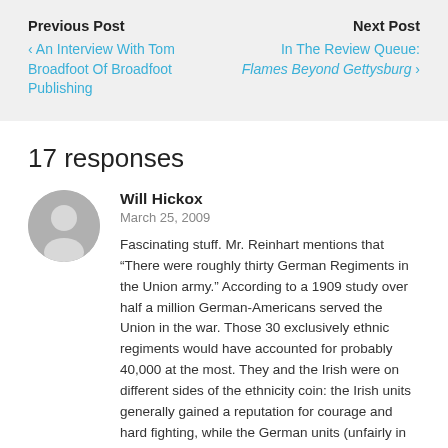Previous Post | Next Post
An Interview With Tom Broadfoot Of Broadfoot Publishing
In The Review Queue: Flames Beyond Gettysburg
17 responses
Will Hickox
March 25, 2009
Fascinating stuff. Mr. Reinhart mentions that “There were roughly thirty German Regiments in the Union army.” According to a 1909 study over half a million German-Americans served the Union in the war. Those 30 exclusively ethnic regiments would have accounted for probably 40,000 at the most. They and the Irish were on different sides of the ethnicity coin: the Irish units generally gained a reputation for courage and hard fighting, while the German units (unfairly in most cases) were accused of cowardice. Joe’s basic premise that the comparatively few German regiments largely remained “undiluted” is convincing, but surely their 476,000 brothers in “yankee” units had an easier